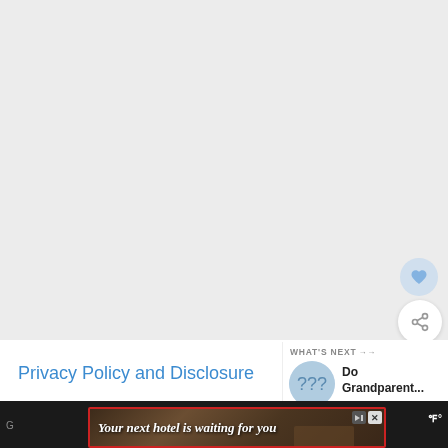[Figure (screenshot): Large gray empty area representing a map or media placeholder, with a heart/favorite button (light blue circle) and a share button (white circle with share icon) floating on the right side.]
Privacy Policy and Disclosure
[Figure (screenshot): What's Next panel showing a circular thumbnail image and title 'Do Grandparent...' with a 'WHAT'S NEXT' header label and arrow.]
[Figure (screenshot): Advertisement banner at the bottom: 'Your next hotel is waiting for you' with a dark scenic photo of a hillside building.]